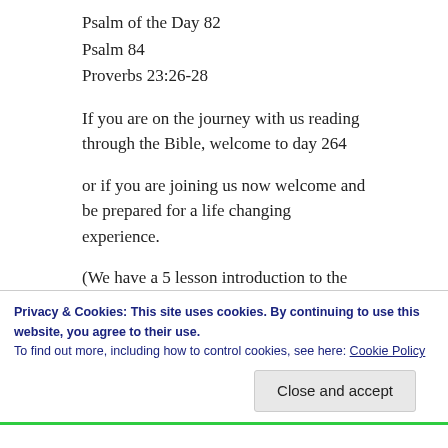Psalm of the Day 82
Psalm 84
Proverbs 23:26-28
If you are on the journey with us reading through the Bible, welcome to day 264
or if you are joining us now welcome and be prepared for a life changing experience.
(We have a 5 lesson introduction to the Bible on youtube) – https://www.youtube.com/playlist? list=PLgou9kmO73rbbVIDOOLR6bvPAgiP1XzP3
Privacy & Cookies: This site uses cookies. By continuing to use this website, you agree to their use.
To find out more, including how to control cookies, see here: Cookie Policy
Close and accept